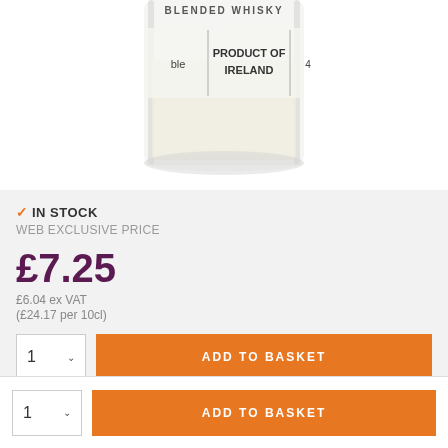[Figure (photo): Bottom portion of a whisky bottle showing label text 'PRODUCT OF IRELAND' with the bottle containing pale liquid, photographed against white background]
✓ IN STOCK
WEB EXCLUSIVE PRICE
£7.25
£6.04 ex VAT
(£24.17 per 10cl)
ADD TO BASKET
ADD TO BASKET